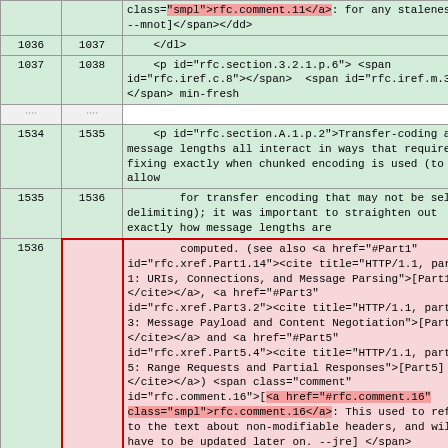|  |  | code/content |
| --- | --- | --- |
|  |  | class="smpl">rfc.comment.11</a>: for any staleness? --mnot]</span></dd> |
| 1036 | 1037 |     </dl> |
| 1037 | 1038 |     <p id="rfc.section.3.2.1.p.6"> <span id="rfc.iref.c.8"></span>  <span id="rfc.iref.m.3"></span> min-fresh |
| .... | .... |  |
| 1534 | 1535 |     <p id="rfc.section.A.1.p.2">Transfer-coding and message lengths all interact in ways that required fixing exactly when chunked encoding is used (to allow |
| 1535 | 1536 |         for transfer encoding that may not be self delimiting); it was important to straighten out exactly how message lengths are |
| 1536 |  |         computed. (see also <a href="#Part1" id="rfc.xref.Part1.14"><cite title="HTTP/1.1, part 1: URIs, Connections, and Message Parsing">[Part1]</cite></a>, <a href="#Part3" id="rfc.xref.Part3.2"><cite title="HTTP/1.1, part 3: Message Payload and Content Negotiation">[Part3]</cite></a> and <a href="#Part5" id="rfc.xref.Part5.4"><cite title="HTTP/1.1, part 5: Range Requests and Partial Responses">[Part5]</cite></a>) <span class="comment" id="rfc.comment.16">[<a href="#rfc.comment.16" class="smpl">rfc.comment.16</a>: This used to refer to the text about non-modifiable headers, and will have to be updated later on. --jre] </span> |
| 1537 |  |     </p> |
| 1538 |  |     <p id="rfc.section.A.1.p.3">Proxies should be able to add Content-Length when appropriate. <span class="comment" id="rfc.comment.17">[<a href="#rfc.comment.17" class="smpl">rfc.comment.17</a>: This used to refer to the text about non-modifiable headers, and will have to be updated later on. |